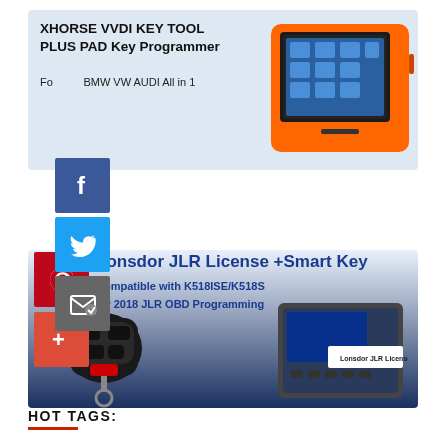[Figure (infographic): XHORSE VVDI KEY TOOL PLUS PAD Key Programmer product card with device image on light blue background]
XHORSE VVDI KEY TOOL PLUS PAD Key Programmer
For BMW VW AUDI All in 1
[Figure (infographic): Social media share icons: Facebook, Twitter, Email, Pinterest, Google Plus]
[Figure (infographic): Lonsdor JLR License + Smart Key product card with key fob and scanner device on dark blue gradient background]
Lonsdor JLR License +Smart Key
Compatible with K518ISE/K518S
for 2018 JLR OBD Programming
Lonsdor JLR License
HOT TAGS: